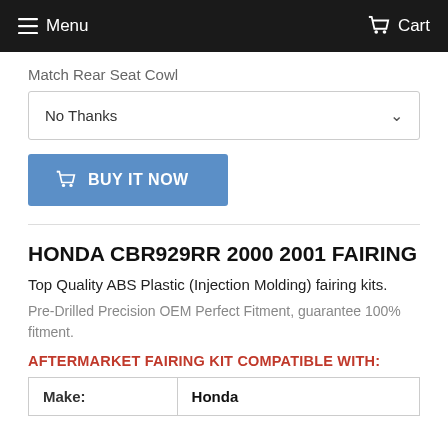Menu  Cart
Match Rear Seat Cowl
No Thanks
BUY IT NOW
HONDA CBR929RR 2000 2001 FAIRING
Top Quality ABS Plastic (Injection Molding) fairing kits.
Pre-Drilled Precision OEM Perfect Fitment, guarantee 100% fitment.
AFTERMARKET FAIRING KIT COMPATIBLE WITH:
| Make: | Honda |
| --- | --- |